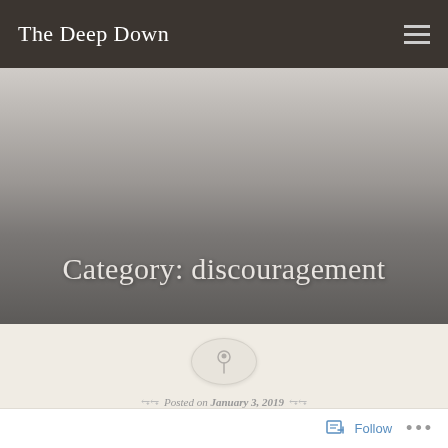The Deep Down
Category: discouragement
[Figure (illustration): Circular pin/pushpin icon on a light beige circle background]
Posted on January 3, 2019
Follow ...